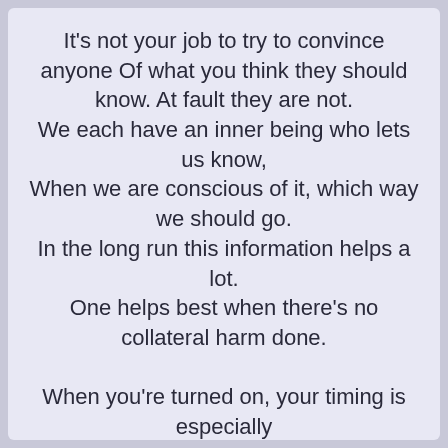It's not your job to try to convince anyone Of what you think they should know. At fault they are not. We each have an inner being who lets us know, When we are conscious of it, which way we should go. In the long run this information helps a lot. One helps best when there's no collateral harm done.

When you're turned on, your timing is especially Good. You will catch people at just the right moment To communicate with them. Your power to